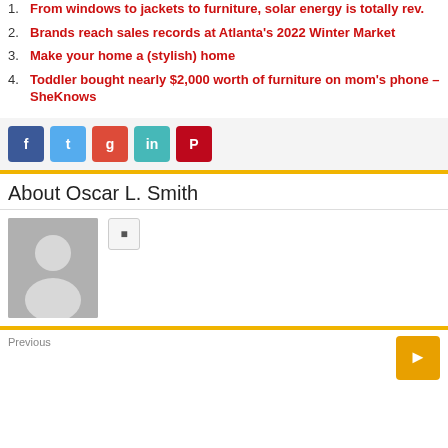1. From windows to jackets to furniture, solar energy is totally rev.
2. Brands reach sales records at Atlanta's 2022 Winter Market
3. Make your home a (stylish) home
4. Toddler bought nearly $2,000 worth of furniture on mom's phone – SheKnows
[Figure (other): Social share buttons: Facebook, Twitter, Google+, LinkedIn, Pinterest]
About Oscar L. Smith
[Figure (photo): Generic avatar placeholder image of a person silhouette]
Previous